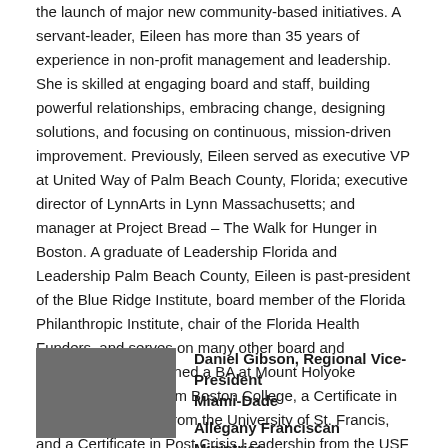the launch of major new community-based initiatives. A servant-leader, Eileen has more than 35 years of experience in non-profit management and leadership. She is skilled at engaging board and staff, building powerful relationships, embracing change, designing solutions, and focusing on continuous, mission-driven improvement. Previously, Eileen served as executive VP at United Way of Palm Beach County, Florida; executive director of LynnArts in Lynn Massachusetts; and manager at Project Bread – The Walk for Hunger in Boston. A graduate of Leadership Florida and Leadership Palm Beach County, Eileen is past-president of the Blue Ridge Institute, board member of the Florida Philanthropic Institute, chair of the Florida Health Funders, and serves on many other board and committees. She earned a BA at Mount Holyoke College, an MSW from Boston College, a Certificate in Franciscan Studies from the University of St. Francis, and a Certificate in Post Crisis Leadership from the USF MUMA School of Business.
[Figure (photo): Headshot photo of Daniel Gibson, a man with short hair against a dark background]
Daniel Gibson, Regional Vice-President Miami-Dade
Allegany Franciscan Ministries